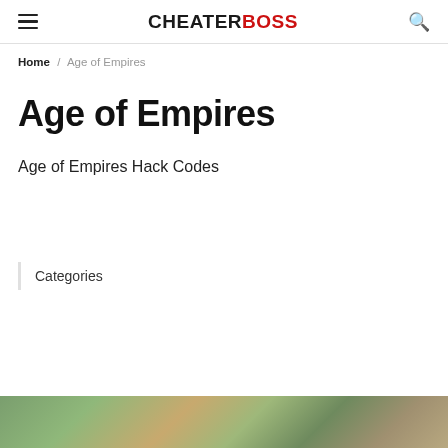CHEATERBOSS
Home / Age of Empires
Age of Empires
Age of Empires Hack Codes
Categories
[Figure (photo): Partial view of a landscape/game screenshot showing terrain at the bottom of the page]